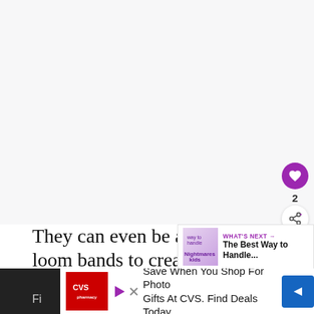[Figure (photo): Large blank/white image area at top of page, appears to be a placeholder or image that did not load]
They can even be attached to loom bands to create a water balloon yo-yo!
[Figure (screenshot): WHAT'S NEXT overlay with thumbnail showing 'The Best Way to Handle...' with a purple/pink nightmares kids image]
[Figure (screenshot): Advertisement strip: Save When You Shop For Photo Gifts At CVS. Find Deals Today. with CVS pharmacy logo and blue arrow button]
Fi b